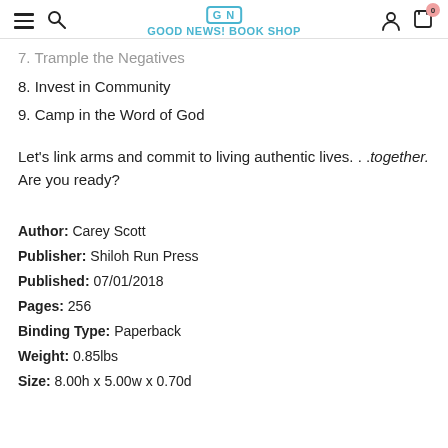Good News! Book Shop
7. Trample the Negatives
8. Invest in Community
9. Camp in the Word of God
Let's link arms and commit to living authentic lives. . .together. Are you ready?
Author: Carey Scott
Publisher: Shiloh Run Press
Published: 07/01/2018
Pages: 256
Binding Type: Paperback
Weight: 0.85lbs
Size: 8.00h x 5.00w x 0.70d